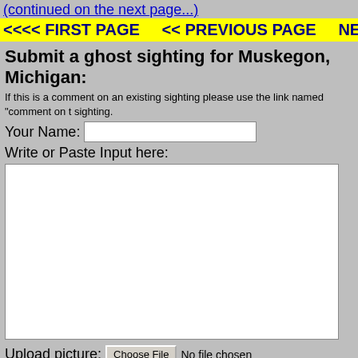(continued on the next page...)
<<<< FIRST PAGE    << PREVIOUS PAGE    NEXT
Submit a ghost sighting for Muskegon, Michigan:
If this is a comment on an existing sighting please use the link named "comment on t sighting.
Your Name: [text input field]
Write or Paste Input here:
[Large textarea]
Upload picture: Choose File  No file chosen
Submit
If you want to upload more pictures just go back after you submit and keep submitting as many pics as you want.
IMPORTANT LEGAL NOTICE